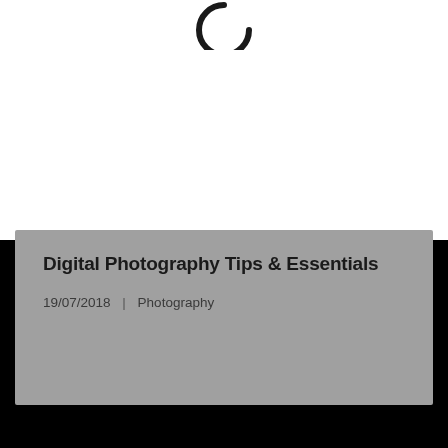[Figure (other): Partial loading spinner icon (letter C shape) at top of page on white background]
Digital Photography Tips & Essentials
19/07/2018  |  Photography